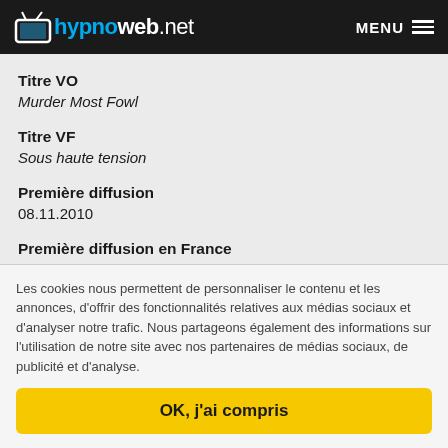hypnoweb.net   MENU
Titre VO
Murder Most Fowl
Titre VF
Sous haute tension
Première diffusion
08.11.2010
Première diffusion en France
10.10.2011
Les cookies nous permettent de personnaliser le contenu et les annonces, d'offrir des fonctionnalités relatives aux médias sociaux et d'analyser notre trafic. Nous partageons également des informations sur l'utilisation de notre site avec nos partenaires de médias sociaux, de publicité et d'analyse.
OK, j'ai compris